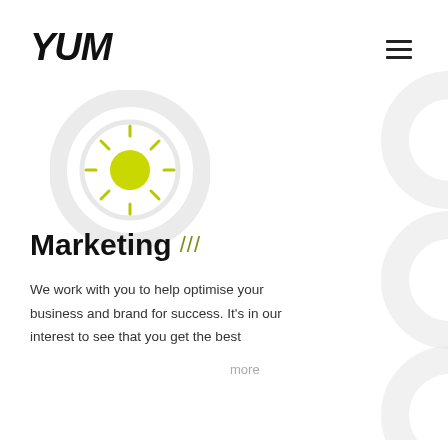YUM
[Figure (illustration): Circular eye-like icon with a yellow-green sun in the center, surrounded by concentric grey rings]
Marketing ///
We work with you to help optimise your business and brand for success. It's in our interest to see that you get the best
more